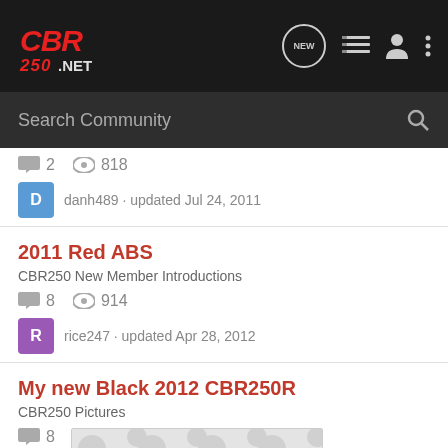CBR250.NET header navigation
Search Community
2  818  danh489 · updated Jul 24, 2011
2011 Red ABS
CBR250 New Member Introductions
8  914  rice247 · updated Apr 28, 2012
My new Black 2012 CBR250R
CBR250 Pictures
8